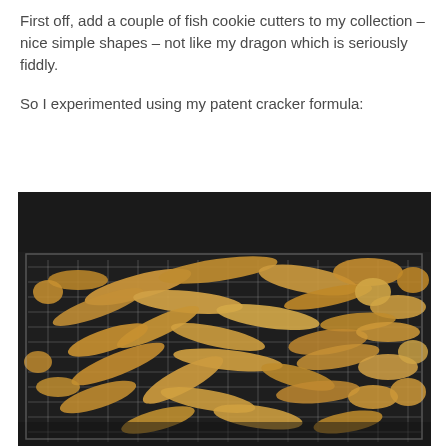First off, add a couple of fish cookie cutters to my collection – nice simple shapes – not like my dragon which is seriously fiddly.

So I experimented using my patent cracker formula:
[Figure (photo): Photograph of many fish-shaped crackers/cookies piled on a metal cooling rack against a dark background]